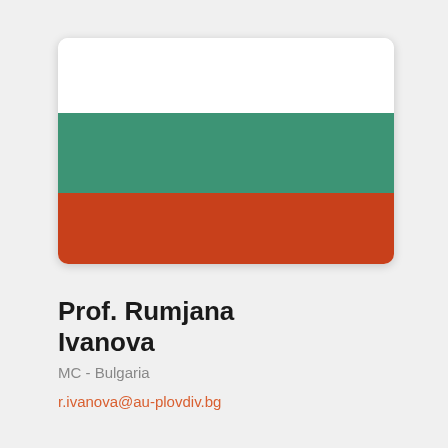[Figure (illustration): Bulgarian flag with three horizontal stripes: white on top, green in the middle, red on the bottom. Displayed in a rounded rectangle with a subtle shadow.]
Prof. Rumjana Ivanova
MC - Bulgaria
r.ivanova@au-plovdiv.bg